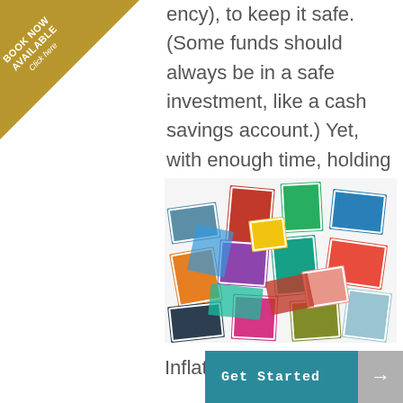[Figure (other): Gold triangle banner in top-left corner with text 'BOOK NOW AVAILABLE Click here']
ency), to keep it safe. (Some funds should always be in a safe investment, like a cash savings account.) Yet, with enough time, holding sure won't buy as many stamps today!
[Figure (photo): A colorful collection of postage stamps scattered together, showing various designs, colors and portraits from what appears to be French stamps.]
Inflation is just one
[Figure (other): Get Started button bar in teal/dark cyan color with arrow button on right side]